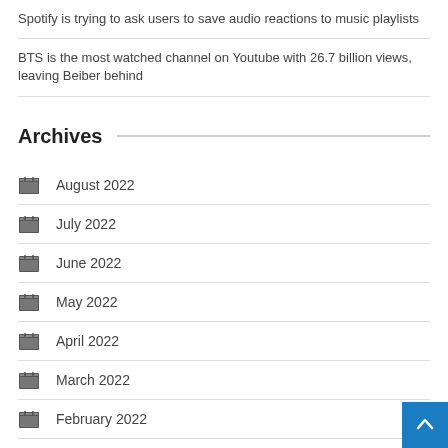Spotify is trying to ask users to save audio reactions to music playlists
BTS is the most watched channel on Youtube with 26.7 billion views, leaving Beiber behind
Archives
August 2022
July 2022
June 2022
May 2022
April 2022
March 2022
February 2022
January 2022